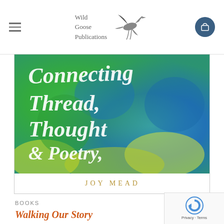Wild Goose Publications
[Figure (illustration): Book cover of 'Connecting Thread, Thought & Poetry, Beaten Track' by Joy Mead — colorful abstract painting in greens, blues, and yellows with white calligraphic lettering and author name at bottom]
BOOKS
Walking Our Story